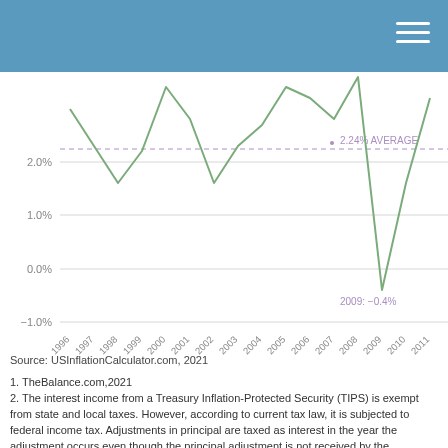[Figure (line-chart): Inflation Rate]
Source: USInflationCalculator.com, 2021
1. TheBalance.com,2021
2. The interest income from a Treasury Inflation-Protected Security (TIPS) is exempt from state and local taxes. However, according to current tax law, it is subjected to federal income tax. Adjustments in principal are taxed as interest in the year the adjustment occurs even though the principal adjustment is not received by the bondholder until maturity. Individuals should consider their ability to pay the current taxes before investing.